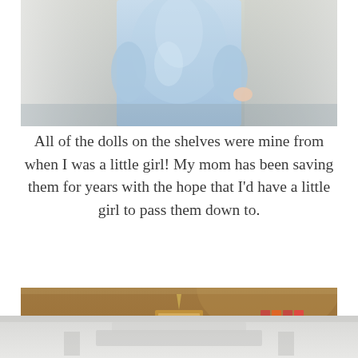[Figure (photo): Close-up photo of a doll wearing a light blue dress, blurred background with white fabric]
All of the dolls on the shelves were mine from when I was a little girl! My mom has been saving them for years with the hope that I'd have a little girl to pass them down to.
[Figure (photo): Photo of a room with a warm tan/brown wall featuring a framed picture hanging with a ribbon, and two white shelves on the right with decorative items including letters spelling LOVE and small figurines]
[Figure (photo): Partial photo showing a white surface, possibly a crib or changing table, lightly blurred]